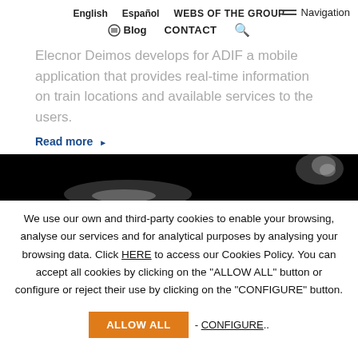English  Español  WEBS OF THE GROUP  Blog  CONTACT  Navigation
Elecnor Deimos develops for ADIF a mobile application that provides real-time information on train locations and available services to the users.
Read more ▶
[Figure (photo): Dark image band showing what appears to be a space or aerial photograph, mostly black with some light elements visible]
We use our own and third-party cookies to enable your browsing, analyse our services and for analytical purposes by analysing your browsing data. Click HERE to access our Cookies Policy. You can accept all cookies by clicking on the "ALLOW ALL" button or configure or reject their use by clicking on the "CONFIGURE" button.
ALLOW ALL - CONFIGURE..